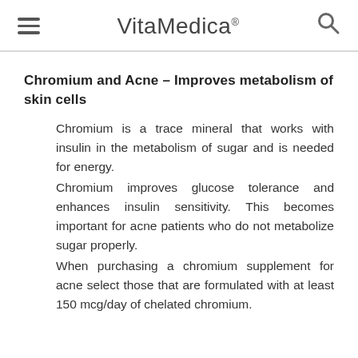VitaMedica®
Chromium and Acne – Improves metabolism of skin cells
Chromium is a trace mineral that works with insulin in the metabolism of sugar and is needed for energy. Chromium improves glucose tolerance and enhances insulin sensitivity. This becomes important for acne patients who do not metabolize sugar properly. When purchasing a chromium supplement for acne select those that are formulated with at least 150 mcg/day of chelated chromium.